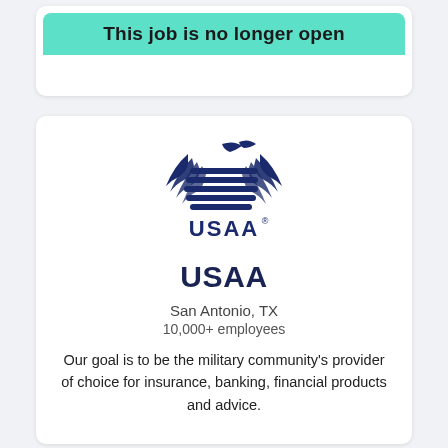This job is no longer open
[Figure (logo): USAA eagle logo with horizontal wave stripes and USAA text with registered trademark symbol]
USAA
San Antonio, TX
10,000+ employees
Our goal is to be the military community’s provider of choice for insurance, banking, financial products and advice.